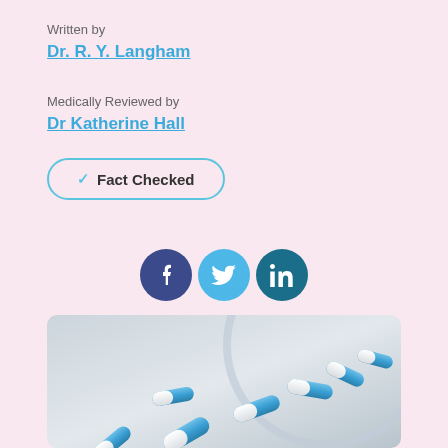Written by
Dr. R. Y. Langham
Medically Reviewed by
Dr Katherine Hall
✓ Fact Checked
[Figure (infographic): Social media sharing icons: Facebook (dark blue circle with f), Twitter (light blue circle with bird icon), LinkedIn (teal circle with in)]
[Figure (photo): Blue and white capsule pills spilling out of a clear glass jar onto a white surface]